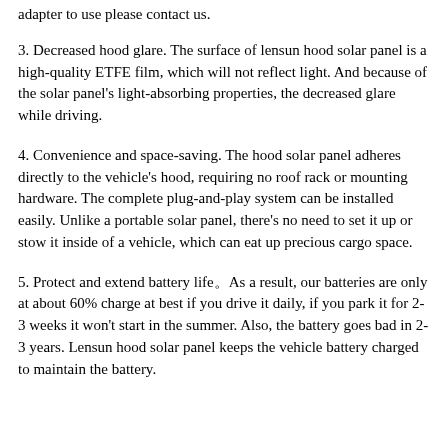adapter to use please contact us.
3. Decreased hood glare. The surface of lensun hood solar panel is a high-quality ETFE film, which will not reflect light. And because of the solar panel's light-absorbing properties, the decreased glare while driving.
4. Convenience and space-saving. The hood solar panel adheres directly to the vehicle's hood, requiring no roof rack or mounting hardware. The complete plug-and-play system can be installed easily. Unlike a portable solar panel, there's no need to set it up or stow it inside of a vehicle, which can eat up precious cargo space.
5. Protect and extend battery life。As a result, our batteries are only at about 60% charge at best if you drive it daily, if you park it for 2-3 weeks it won't start in the summer. Also, the battery goes bad in 2-3 years. Lensun hood solar panel keeps the vehicle battery charged to maintain the battery.